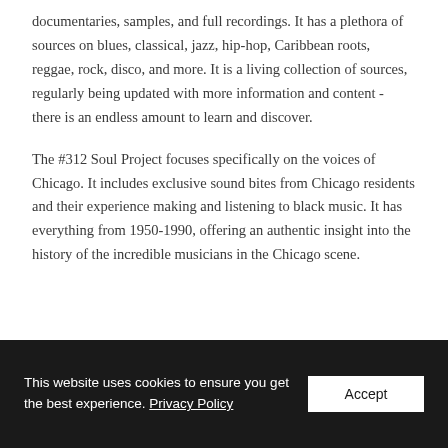documentaries, samples, and full recordings. It has a plethora of sources on blues, classical, jazz, hip-hop, Caribbean roots, reggae, rock, disco, and more. It is a living collection of sources, regularly being updated with more information and content - there is an endless amount to learn and discover.
The #312 Soul Project focuses specifically on the voices of Chicago. It includes exclusive sound bites from Chicago residents and their experience making and listening to black music. It has everything from 1950-1990, offering an authentic insight into the history of the incredible musicians in the Chicago scene.
This website uses cookies to ensure you get the best experience. Privacy Policy  Accept